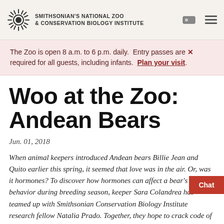SMITHSONIAN'S NATIONAL ZOO & CONSERVATION BIOLOGY INSTITUTE
The Zoo is open 8 a.m. to 6 p.m. daily. Entry passes are required for all guests, including infants. Plan your visit.
Woo at the Zoo: Andean Bears
Jun. 01, 2018
When animal keepers introduced Andean bears Billie Jean and Quito earlier this spring, it seemed that love was in the air. Or, was it hormones? To discover how hormones can affect a bear's behavior during breeding season, keeper Sara Colandrea has teamed up with Smithsonian Conservation Biology Institute research fellow Natalia Prado. Together, they hope to crack code of Andean bear reproduction and help other zoos produce bouncing baby bears.